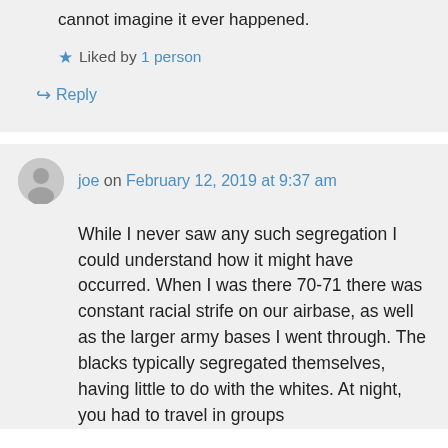I'm with you. I'd like to see it corroborated. I cannot imagine it ever happened.
★ Liked by 1 person
↪ Reply
joe on February 12, 2019 at 9:37 am
While I never saw any such segregation I could understand how it might have occurred. When I was there 70-71 there was constant racial strife on our airbase, as well as the larger army bases I went through. The blacks typically segregated themselves, having little to do with the whites. At night, you had to travel in groups